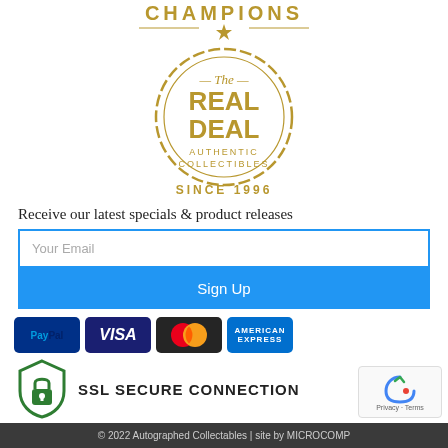[Figure (logo): The Real Deal Authentic Collectibles badge logo with CHAMPIONS text above and SINCE 1996 below, in gold/tan color]
Receive our latest specials & product releases
[Figure (infographic): Email input field with placeholder 'Your Email' and blue Sign Up button below]
[Figure (infographic): Payment icons: PayPal, Visa, Mastercard, American Express. SSL Secure Connection shield icon with text.]
© 2022 Autographed Collectables | site by MICROCOMP